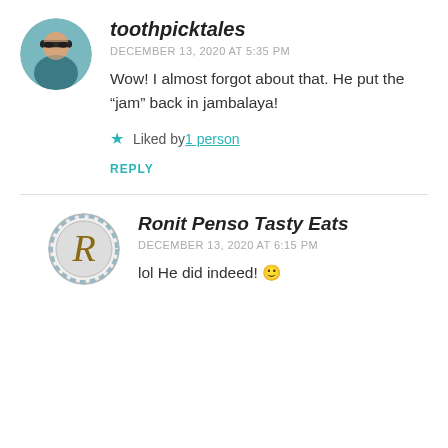toothpicktales
DECEMBER 13, 2020 AT 5:35 PM
Wow! I almost forgot about that. He put the “jam” back in jambalaya!
Liked by 1 person
REPLY
Ronit Penso Tasty Eats
DECEMBER 13, 2020 AT 6:15 PM
lol He did indeed! 🙂